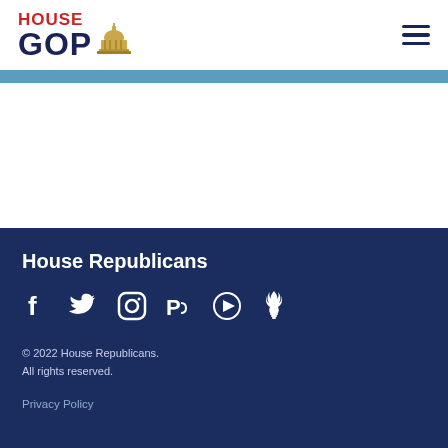[Figure (logo): House GOP logo with Capitol building icon, red HOUSE text and navy GOP text]
[Figure (other): Hamburger menu icon (three horizontal lines)]
House Republicans
[Figure (other): Social media icons: Facebook, Twitter, Instagram, Parler, Rumble, Locals]
© 2022 House Republicans. All rights reserved.
Privacy Policy